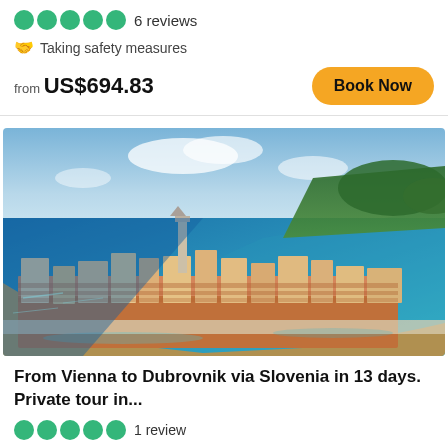●●●●● 6 reviews
🤝 Taking safety measures
from US$694.83
Book Now
[Figure (photo): Aerial view of a coastal town (Piran, Slovenia) situated on a peninsula surrounded by turquoise-blue Adriatic Sea water, with terracotta-roofed buildings, a tall bell tower, green hills in the background, and a harbor visible on the right side.]
From Vienna to Dubrovnik via Slovenia in 13 days. Private tour in...
●●●●● 1 review